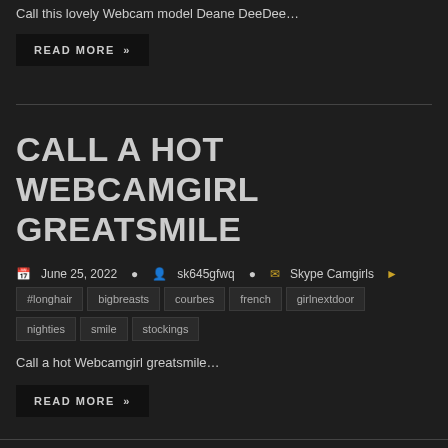Call this lovely Webcam model Deane DeeDee…
READ MORE »
CALL A HOT WEBCAMGIRL GREATSMILE
June 25, 2022  sk645gfwq  Skype Camgirls  #longhair  bigbreasts  courbes  french  girlnextdoor  nighties  smile  stockings
Call a hot Webcamgirl greatsmile…
READ MORE »